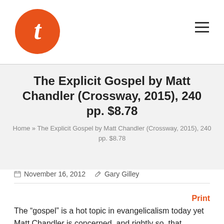[Figure (logo): Orange circle logo with white italic T letter]
The Explicit Gospel by Matt Chandler (Crossway, 2015), 240 pp. $8.78
Home » The Explicit Gospel by Matt Chandler (Crossway, 2015), 240 pp. $8.78
November 16, 2012  Gary Gilley
Print
The “gospel” is a hot topic in evangelicalism today yet Matt Chandler is concerned, and rightly so, that Christians are not